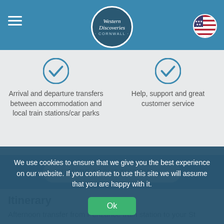Western Discoveries Cornwall - navigation header
Arrival and departure transfers between accommodation and local train stations/car parks
Help, support and great customer service
ENQUIRE ABOUT THIS WALK >
Itinerary
Afternoon transfer from Penzance train station to your St
We use cookies to ensure that we give you the best experience on our website. If you continue to use this site we will assume that you are happy with it.